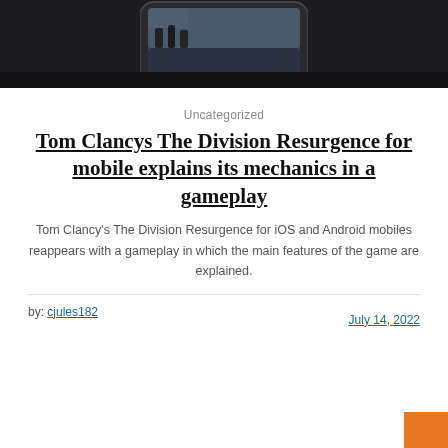[Figure (photo): Hero image showing a mobile phone screen with a game scene featuring characters in an urban environment, dark background]
Uncategorized
Tom Clancys The Division Resurgence for mobile explains its mechanics in a gameplay
Tom Clancy's The Division Resurgence for iOS and Android mobiles reappears with a gameplay in which the main features of the game are explained.
by: cjules182
July 14, 2022